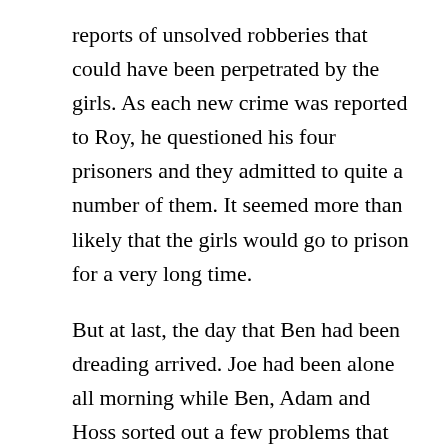reports of unsolved robberies that could have been perpetrated by the girls. As each new crime was reported to Roy, he questioned his four prisoners and they admitted to quite a number of them. It seemed more than likely that the girls would go to prison for a very long time.
But at last, the day that Ben had been dreading arrived. Joe had been alone all morning while Ben, Adam and Hoss sorted out a few problems that had arisen. When Ben came back to see how Joe was doing, he found his youngest son sunk into deep misery.
“What’s wrong, Joe?” he asked, catching sight of Joe’s face as he entered the room. “Are you in pain?”
“Not really” Joe replied before the sentence cuts of…